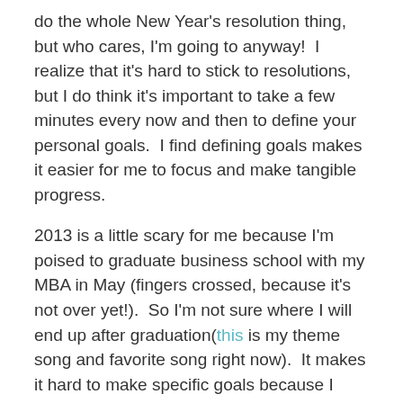do the whole New Year's resolution thing, but who cares, I'm going to anyway!  I realize that it's hard to stick to resolutions, but I do think it's important to take a few minutes every now and then to define your personal goals.  I find defining goals makes it easier for me to focus and make tangible progress.
2013 is a little scary for me because I'm poised to graduate business school with my MBA in May (fingers crossed, because it's not over yet!).  So I'm not sure where I will end up after graduation(this is my theme song and favorite song right now).  It makes it hard to make specific goals because I actually don't know where I will be living or what I will be doing after I graduate.  That being said, here are some of my goals for this year:
Personal Goals